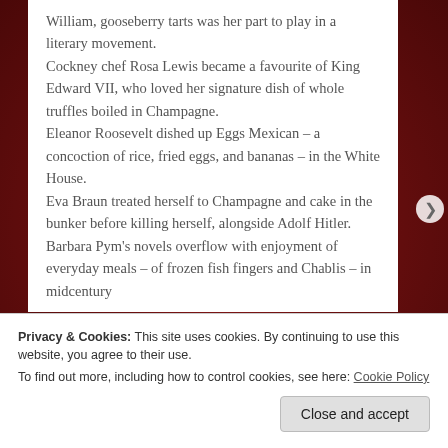William, gooseberry tarts was her part to play in a literary movement.
Cockney chef Rosa Lewis became a favourite of King Edward VII, who loved her signature dish of whole truffles boiled in Champagne.
Eleanor Roosevelt dished up Eggs Mexican – a concoction of rice, fried eggs, and bananas – in the White House.
Eva Braun treated herself to Champagne and cake in the bunker before killing herself, alongside Adolf Hitler.
Barbara Pym's novels overflow with enjoyment of everyday meals – of frozen fish fingers and Chablis – in midcentury
Privacy & Cookies: This site uses cookies. By continuing to use this website, you agree to their use.
To find out more, including how to control cookies, see here: Cookie Policy
Close and accept